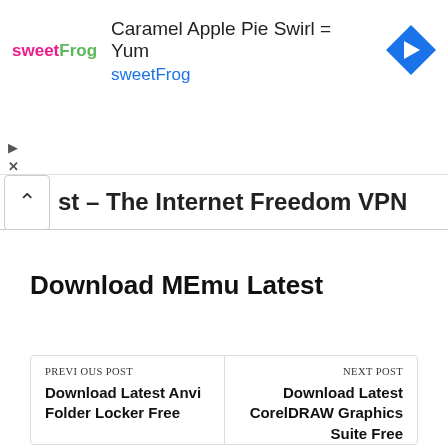[Figure (screenshot): Advertisement banner for sweetFrog: 'Caramel Apple Pie Swirl = Yum' with sweetFrog logo and blue navigation arrow icon]
st – The Internet Freedom VPN
Download MEmu Latest
PREVIOUS POST
Download Latest Anvi Folder Locker Free
NEXT POST
Download Latest CorelDRAW Graphics Suite Free